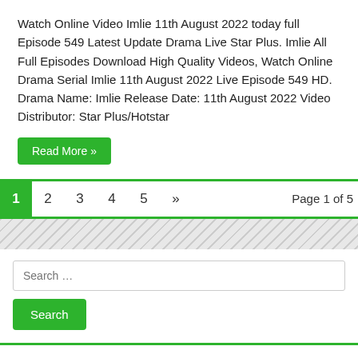Watch Online Video Imlie 11th August 2022 today full Episode 549 Latest Update Drama Live Star Plus. Imlie All Full Episodes Download High Quality Videos, Watch Online Drama Serial Imlie 11th August 2022 Live Episode 549 HD. Drama Name: Imlie Release Date: 11th August 2022 Video Distributor: Star Plus/Hotstar
Read More »
1  2  3  4  5  »  Page 1 of 5
Search …
Search
RECENT POSTS
Nima Denzongpa 22nd August 2022 Episode 261 Video